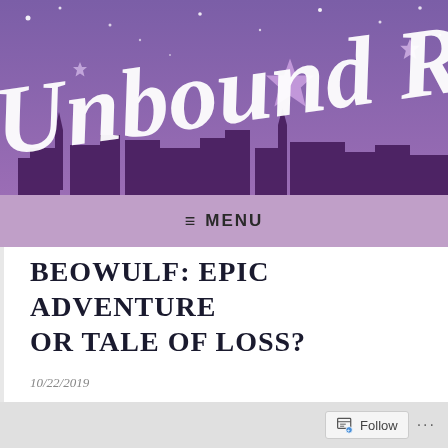[Figure (illustration): Blog header banner with purple/violet night sky background, city skyline silhouette in dark purple at the bottom, white decorative stars scattered across the sky, and the cursive script text 'Unbound R...' (partially cropped) in white with drop shadow.]
≡ MENU
BEOWULF: EPIC ADVENTURE OR TALE OF LOSS?
10/22/2019
Follow ...